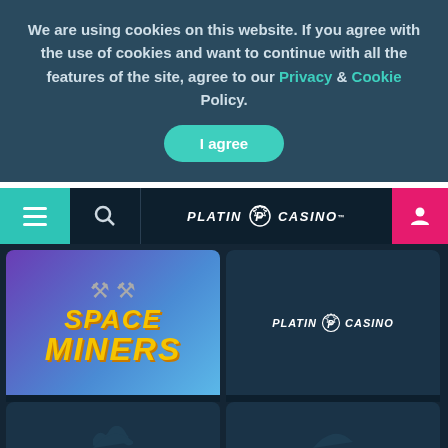We are using cookies on this website. If you agree with the use of cookies and want to continue with all the features of the site, agree to our Privacy & Cookie Policy.
I agree
[Figure (screenshot): Platin Casino navigation bar with menu button, search icon, logo, and user icon]
[Figure (screenshot): Space Miners game thumbnail with colorful text logo]
Space Miners
[Figure (logo): Platin Casino logo on dark background representing Payday Megaways game slot]
Payday Megaways
[Figure (screenshot): Partially visible game card at the bottom left]
[Figure (screenshot): Partially visible game card at the bottom right]